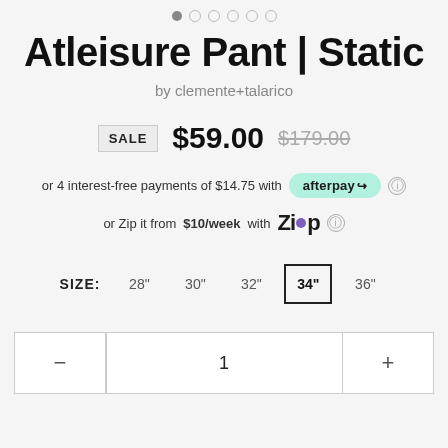[Figure (other): Pagination dots row with one filled dot and several empty circle dots]
Atleisure Pant | Static
by clemente+talarico
SALE  $59.00  $179.00
or 4 interest-free payments of $14.75 with afterpay ⓘ
or Zip it from $10/week with Zip ⓘ
SIZE: 28" 30" 32" 34" 36"
1